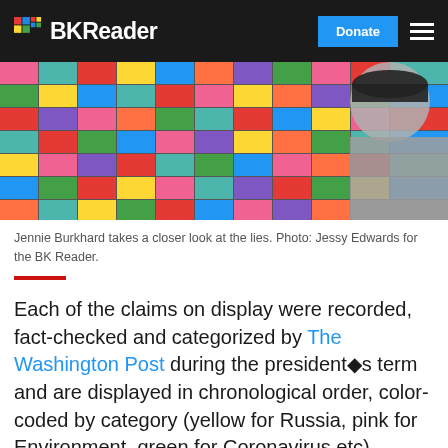BKReader — Donate
[Figure (photo): A person wearing a mask and grey shirt looks closely at a colorful wall covered in sticky notes of various colors including yellow, blue, red, pink, green, and orange.]
Jennie Burkhard takes a closer look at the lies. Photo: Jessy Edwards for the BK Reader.
Each of the claims on display were recorded, fact-checked and categorized by The Washington Post during the president's term and are displayed in chronological order, color-coded by category (yellow for Russia, pink for Environment, green for Coronavirus etc).